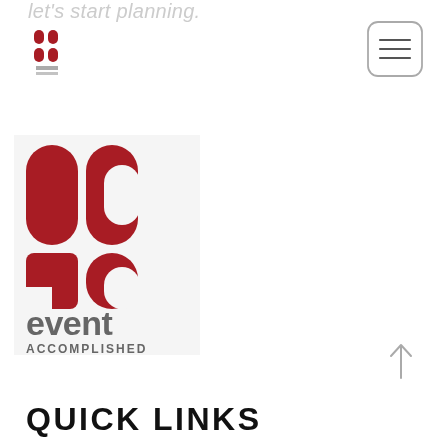let's start planning.
[Figure (logo): Event Accomplished small logo in navigation bar, top-left]
[Figure (other): Hamburger/menu icon button, rounded rectangle with three horizontal lines, top-right]
[Figure (logo): Event Accomplished large logo: red abstract 'ea' letterform with 'event ACCOMPLISHED' text below in gray]
[Figure (other): Scroll-to-top arrow icon, pointing upward, gray]
QUICK LINKS